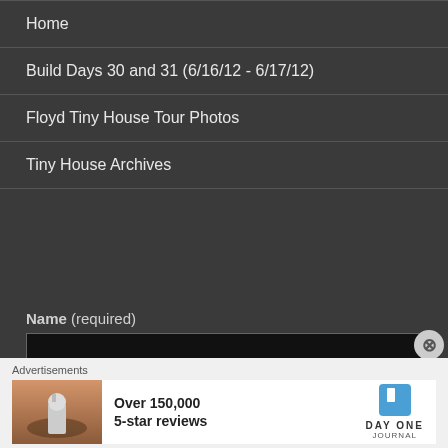Home
Build Days 30 and 31 (6/16/12 - 6/17/12)
Floyd Tiny House Tour Photos
Tiny House Archives
Name (required)
Email (required)
Advertisements
Over 150,000 5-star reviews